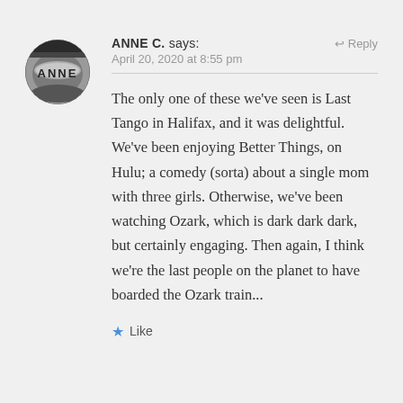[Figure (photo): Circular avatar/profile photo showing a grayscale image with the name ANNE embossed or engraved on what appears to be a coin or medallion]
ANNE C. says:
↩ Reply
April 20, 2020 at 8:55 pm
The only one of these we've seen is Last Tango in Halifax, and it was delightful. We've been enjoying Better Things, on Hulu; a comedy (sorta) about a single mom with three girls. Otherwise, we've been watching Ozark, which is dark dark dark, but certainly engaging. Then again, I think we're the last people on the planet to have boarded the Ozark train...
★ Like